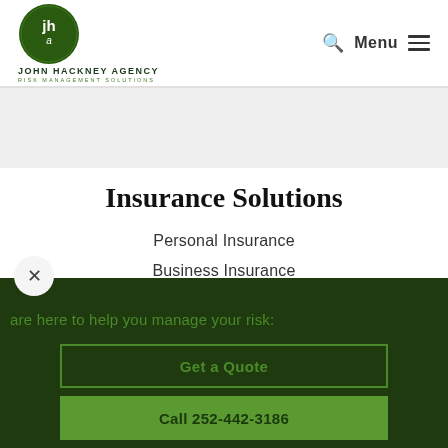[Figure (logo): John Hackney Agency - Risk Management Solutions logo with circular green emblem and company name]
Menu
Insurance Solutions
Personal Insurance
Business Insurance
are here to help you manage your risk:
Get a Quote
Call 252-442-3186